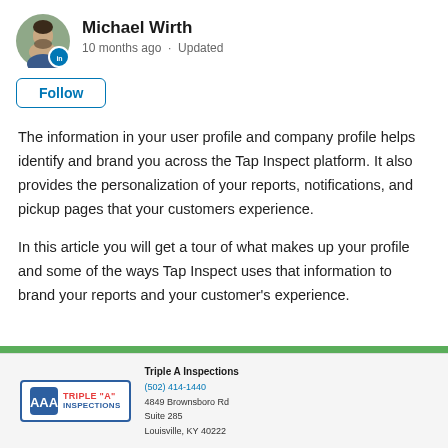[Figure (photo): Circular avatar photo of Michael Wirth, a man with dark hair and beard, with a blue LinkedIn badge icon at bottom right]
Michael Wirth
10 months ago · Updated
Follow
The information in your user profile and company profile helps identify and brand you across the Tap Inspect platform. It also provides the personalization of your reports, notifications, and pickup pages that your customers experience.
In this article you will get a tour of what makes up your profile and some of the ways Tap Inspect uses that information to brand your reports and your customer's experience.
[Figure (screenshot): Preview screenshot showing a Triple A Inspections company header with logo, phone number (502) 414-1440, address 4849 Brownsboro Rd Suite 285, Louisville, KY 40222, with a green bar at top]